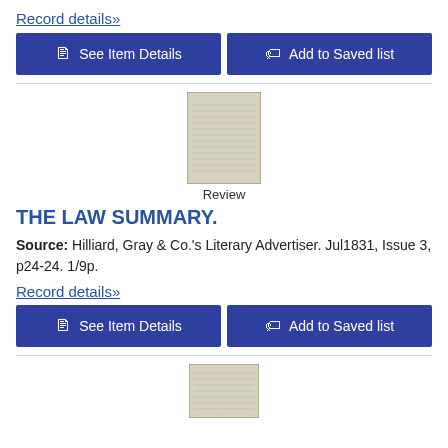Record details»
See Item Details
Add to Saved list
[Figure (illustration): Thumbnail image of a historical newspaper or document page labeled 'Review']
Review
THE LAW SUMMARY.
Source: Hilliard, Gray & Co.'s Literary Advertiser. Jul1831, Issue 3, p24-24. 1/9p.
Record details»
See Item Details
Add to Saved list
[Figure (illustration): Thumbnail image of a historical newspaper page, partially visible at bottom]